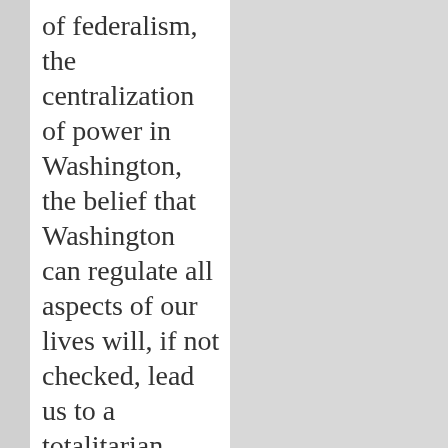of federalism, the centralization of power in Washington, the belief that Washington can regulate all aspects of our lives will, if not checked, lead us to a totalitarian form of government. Freedom is the power and ability to obey your own